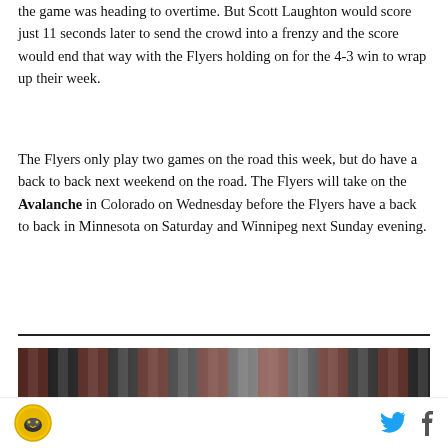the game was heading to overtime. But Scott Laughton would score just 11 seconds later to send the crowd into a frenzy and the score would end that way with the Flyers holding on for the 4-3 win to wrap up their week.
The Flyers only play two games on the road this week, but do have a back to back next weekend on the road. The Flyers will take on the Avalanche in Colorado on Wednesday before the Flyers have a back to back in Minnesota on Saturday and Winnipeg next Sunday evening.
[Figure (photo): Partial view of a crowd photo, appears to be sports fans at a game, shown as a strip at the bottom of the text content]
[Figure (logo): Circular logo with dark yellow/gold border, appears to be a media outlet or sports site logo with an eagle or bird graphic inside]